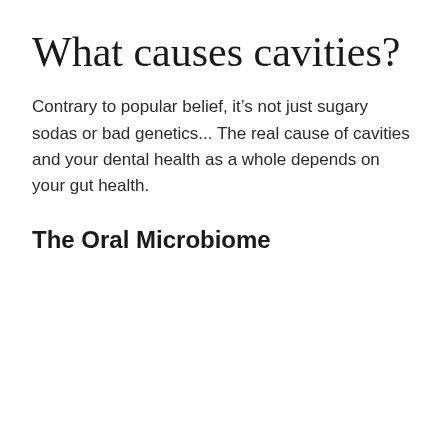What causes cavities?
Contrary to popular belief, it’s not just sugary sodas or bad genetics... The real cause of cavities and your dental health as a whole depends on your gut health.
The Oral Microbiome